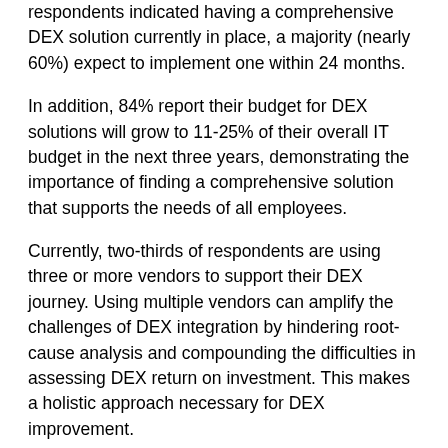respondents indicated having a comprehensive DEX solution currently in place, a majority (nearly 60%) expect to implement one within 24 months.
In addition, 84% report their budget for DEX solutions will grow to 11-25% of their overall IT budget in the next three years, demonstrating the importance of finding a comprehensive solution that supports the needs of all employees.
Currently, two-thirds of respondents are using three or more vendors to support their DEX journey. Using multiple vendors can amplify the challenges of DEX integration by hindering root-cause analysis and compounding the difficulties in assessing DEX return on investment. This makes a holistic approach necessary for DEX improvement.
Two-thirds of respondents prioritize comprehensive DEX solutions that can offer successful delivery, monitoring, analysis and remediation capabilities. It is important to